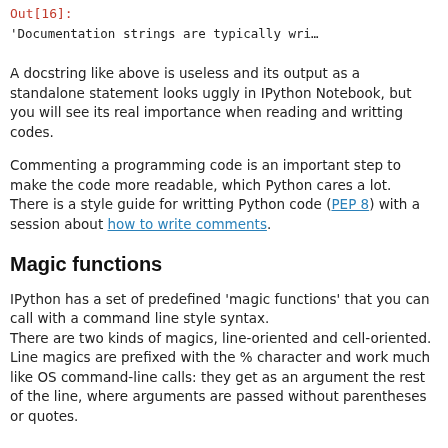Out[16]:
'Documentation strings are typically wri…
A docstring like above is useless and its output as a standalone statement looks uggly in IPython Notebook, but you will see its real importance when reading and writting codes.
Commenting a programming code is an important step to make the code more readable, which Python cares a lot.
There is a style guide for writting Python code (PEP 8) with a session about how to write comments.
Magic functions
IPython has a set of predefined 'magic functions' that you can call with a command line style syntax.
There are two kinds of magics, line-oriented and cell-oriented.
Line magics are prefixed with the % character and work much like OS command-line calls: they get as an argument the rest of the line, where arguments are passed without parentheses or quotes.